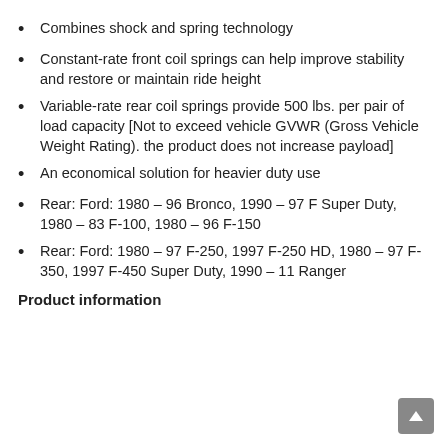Combines shock and spring technology
Constant-rate front coil springs can help improve stability and restore or maintain ride height
Variable-rate rear coil springs provide 500 lbs. per pair of load capacity [Not to exceed vehicle GVWR (Gross Vehicle Weight Rating). the product does not increase payload]
An economical solution for heavier duty use
Rear: Ford: 1980 – 96 Bronco, 1990 – 97 F Super Duty, 1980 – 83 F-100, 1980 – 96 F-150
Rear: Ford: 1980 – 97 F-250, 1997 F-250 HD, 1980 – 97 F-350, 1997 F-450 Super Duty, 1990 – 11 Ranger
Product information